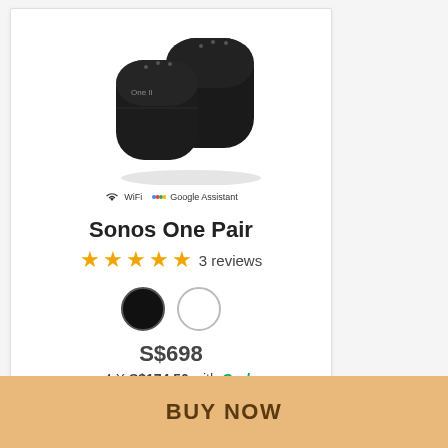[Figure (photo): Two black Sonos One smart speakers shown side by side with labels 'One II'. WiFi and Google Assistant badges shown below.]
Sonos One Pair
★★★★★ 3 reviews
[Figure (other): Color options: black circle and white circle]
S$698
or 4 X S$174.50 with Grab
BUY NOW